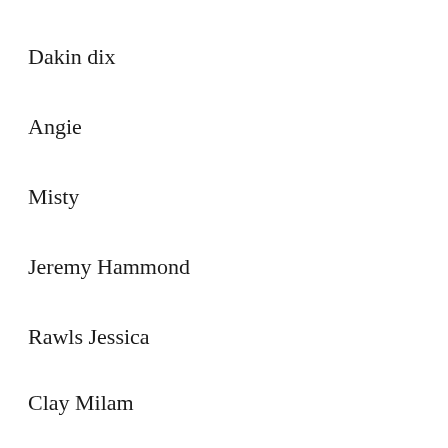Dakin dix
Angie
Misty
Jeremy Hammond
Rawls Jessica
Clay Milam
Clay Milam